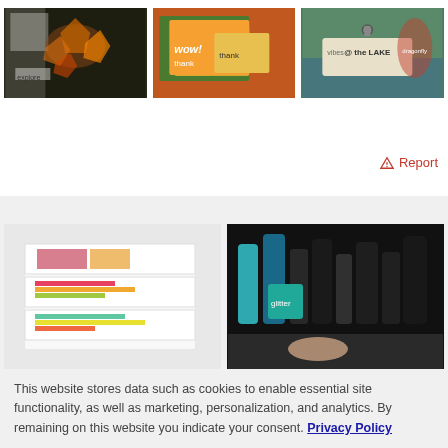[Figure (photo): Three craft/scrapbooking images in a row: left shows autumn leaf collage on dark background, center shows colorful cards with 'wow!' and 'thank you', right shows a lake-themed tag reading '@ the LAKE']
⚠ Report
[Figure (photo): Two product images: left shows a white desktop paper organizer/sorter with colorful paper sheets, right shows craft supplies including teal and dark bottles on a turntable organizer]
This website stores data such as cookies to enable essential site functionality, as well as marketing, personalization, and analytics. By remaining on this website you indicate your consent. Privacy Policy